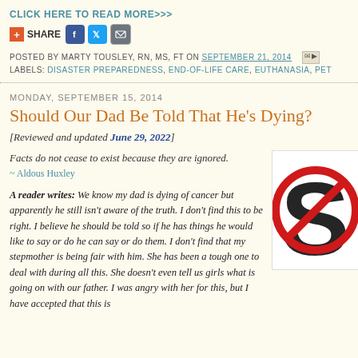CLICK HERE TO READ MORE>>>
+ SHARE [Facebook] [Twitter] [Email]
POSTED BY MARTY TOUSLEY, RN, MS, FT ON SEPTEMBER 21, 2014
LABELS: DISASTER PREPAREDNESS, END-OF-LIFE CARE, EUTHANASIA, PET...
MONDAY, SEPTEMBER 15, 2014
Should Our Dad Be Told That He's Dying?
[Reviewed and updated June 29, 2022]
Facts do not cease to exist because they are ignored.
~ Aldous Huxley
A reader writes: We know my dad is dying of cancer but apparently he still isn't aware of the truth. I don't find this to be right. I believe he should be told so if he has things he would like to say or do he can say or do them. I don't find that my stepmother is being fair with him. She has been a tough one to deal with during all this. She doesn't even tell us girls what is going on with our father. I was angry with her for this, but I have accepted that this is
[Figure (illustration): A red circle with a diagonal line (prohibition sign) overlaid on a large letter 'S' in black, suggesting a 'No Secrets' or 'No Silence' sign]